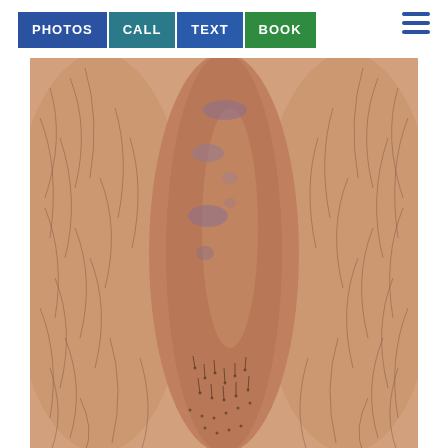[Figure (photo): Navigation bar with PHOTOS, CALL, TEXT, BOOK buttons and hamburger menu icon]
[Figure (photo): Close-up medical photograph of skin showing bruising/discoloration lesions with surrounding hair, clinical documentation image]